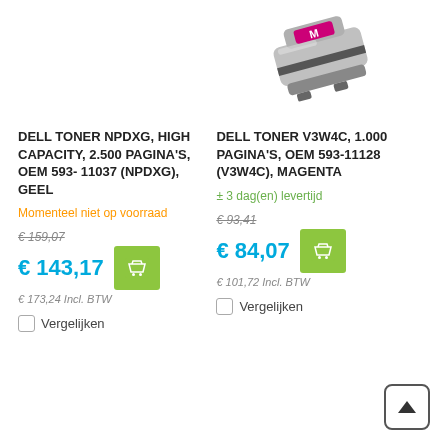[Figure (photo): Dell toner cartridge magenta, shown at top right of page, partially cropped]
DELL TONER NPDXG, HIGH CAPACITY, 2.500 PAGINA'S, OEM 593- 11037 (NPDXG), GEEL
Momenteel niet op voorraad
€ 159,07
€ 143,17
€ 173,24 Incl. BTW
Vergelijken
DELL TONER V3W4C, 1.000 PAGINA'S, OEM 593-11128 (V3W4C), MAGENTA
± 3 dag(en) levertijd
€ 93,41
€ 84,07
€ 101,72 Incl. BTW
Vergelijken